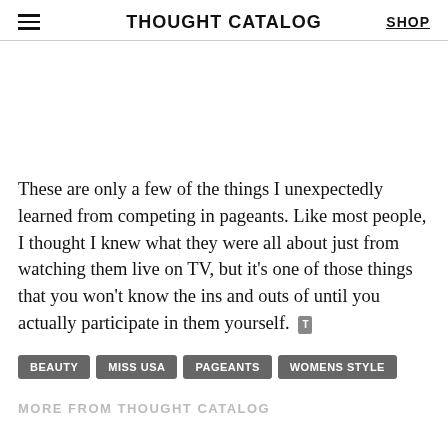THOUGHT CATALOG | SHOP
These are only a few of the things I unexpectedly learned from competing in pageants. Like most people, I thought I knew what they were all about just from watching them live on TV, but it's one of those things that you won't know the ins and outs of until you actually participate in them yourself.
BEAUTY
MISS USA
PAGEANTS
WOMENS STYLE
MORE FROM THOUGHT CATALOG